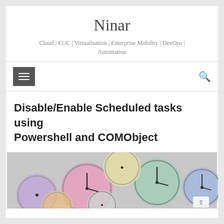Ninar
Cloud | EUC | Virtualisation | Enterprise Mobility | DevOps | Automation
[Figure (screenshot): Navigation bar with hamburger menu button (dark grey square with three horizontal lines) on the left and a search icon on the right]
Disable/Enable Scheduled tasks using Powershell and COMObject
[Figure (photo): A collection of colorful stopwatches and clocks arranged together, viewed from above]